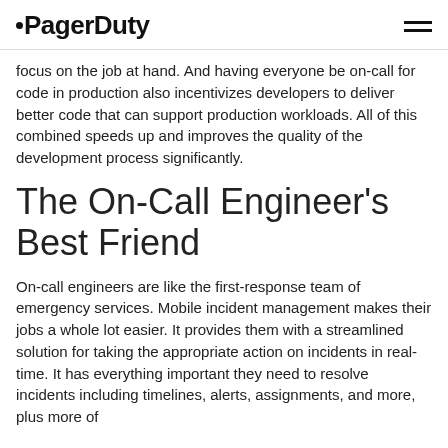PagerDuty
focus on the job at hand. And having everyone be on-call for code in production also incentivizes developers to deliver better code that can support production workloads. All of this combined speeds up and improves the quality of the development process significantly.
The On-Call Engineer’s Best Friend
On-call engineers are like the first-response team of emergency services. Mobile incident management makes their jobs a whole lot easier. It provides them with a streamlined solution for taking the appropriate action on incidents in real-time. It has everything important they need to resolve incidents including timelines, alerts, assignments, and more, plus more of